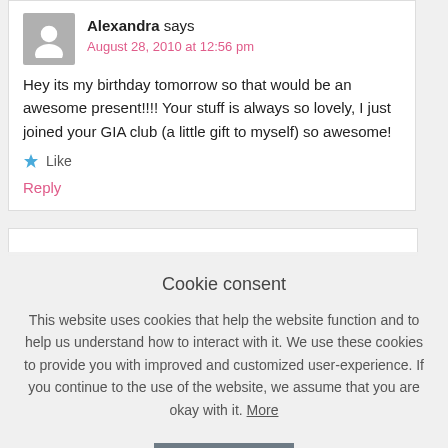Alexandra says
August 28, 2010 at 12:56 pm
Hey its my birthday tomorrow so that would be an awesome present!!!! Your stuff is always so lovely, I just joined your GIA club (a little gift to myself) so awesome!
Like
Reply
Cookie consent
This website uses cookies that help the website function and to help us understand how to interact with it. We use these cookies to provide you with improved and customized user-experience. If you continue to the use of the website, we assume that you are okay with it. More
GOT IT